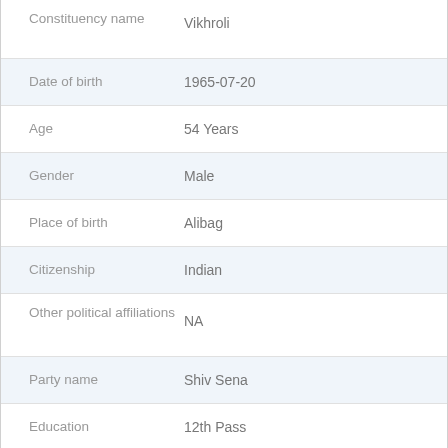| Field | Value |
| --- | --- |
| Constituency name | Vikhroli |
| Date of birth | 1965-07-20 |
| Age | 54 Years |
| Gender | Male |
| Place of birth | Alibag |
| Citizenship | Indian |
| Other political affiliations | NA |
| Party name | Shiv Sena |
| Education | 12th Pass |